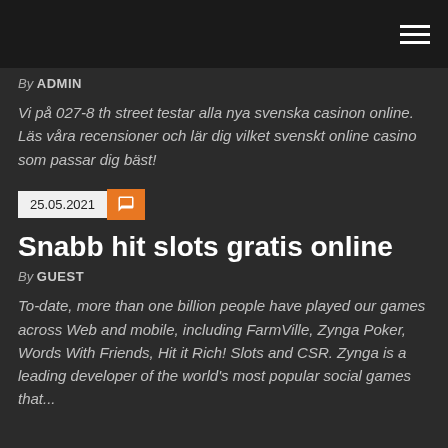By ADMIN
Vi på 027-8 th street testar alla nya svenska casinon online. Läs våra recensioner och lär dig vilket svenskt online casino som passar dig bäst!
25.05.2021
Snabb hit slots gratis online
By GUEST
To-date, more than one billion people have played our games across Web and mobile, including FarmVille, Zynga Poker, Words With Friends, Hit it Rich! Slots and CSR. Zynga is a leading developer of the world's most popular social games that...